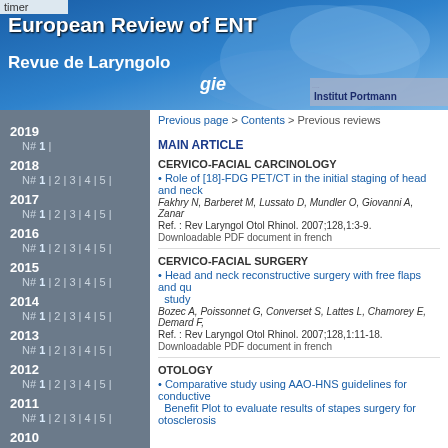timer
[Figure (illustration): European Review of ENT / Revue de Laryngologie header banner with blue gradient background and Institut Portmann logo]
Previous page > Contents > Previous reviews
MAIN ARTICLE
CERVICO-FACIAL CARCINOLOGY
• Role of [18]-FDG PET/CT in the initial staging of head and neck...
Fakhry N, Barberet M, Lussato D, Mundler O, Giovanni A, Zanar...
Ref. : Rev Laryngol Otol Rhinol. 2007;128,1:3-9.
Downloadable PDF document in french
CERVICO-FACIAL SURGERY
• Head and neck reconstructive surgery with free flaps and qu... study
Bozec A, Poissonnet G, Converset S, Lattes L, Chamorey E, Demard F,...
Ref. : Rev Laryngol Otol Rhinol. 2007;128,1:11-18.
Downloadable PDF document in french
OTOLOGY
• Comparative study using AAO-HNS guidelines for conductive... Benefit Plot to evaluate results of stapes surgery for otosclerosis...